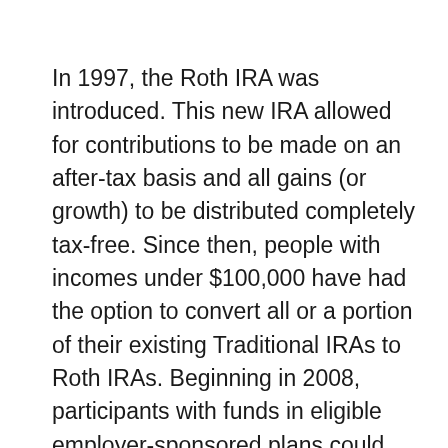In 1997, the Roth IRA was introduced. This new IRA allowed for contributions to be made on an after-tax basis and all gains (or growth) to be distributed completely tax-free. Since then, people with incomes under $100,000 have had the option to convert all or a portion of their existing Traditional IRAs to Roth IRAs. Beginning in 2008, participants with funds in eligible employer-sponsored plans could also roll those funds directly over to a Roth IRA in a qualified rollover if their